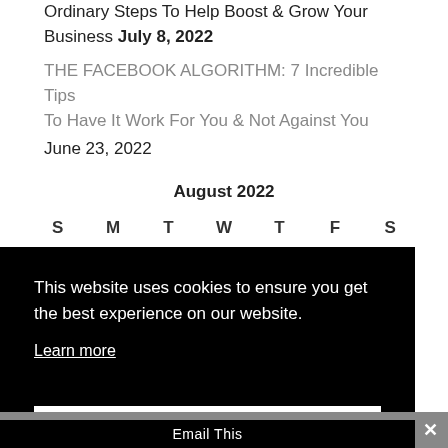Ordinary Steps To Help Boost & Grow Your Business July 8, 2022
THE FACEBOOK ALGORITHM: 7 Incredible Tips To Have It Work For You & Not Against You June 23, 2022
| S | M | T | W | T | F | S |
| --- | --- | --- | --- | --- | --- | --- |
| 1 | 2 | 3 | 4 | 5 | 6 |  |
This website uses cookies to ensure you get the best experience on our website.
Learn more
Got it
Email This